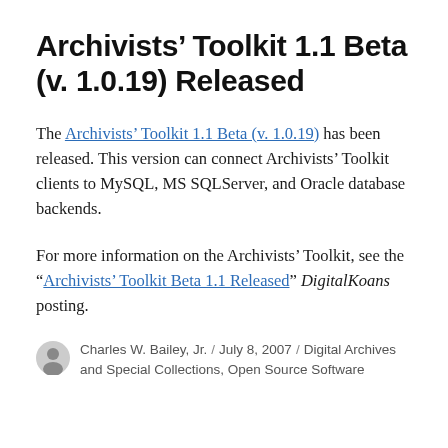Archivists’ Toolkit 1.1 Beta (v. 1.0.19) Released
The Archivists’ Toolkit 1.1 Beta (v. 1.0.19) has been released. This version can connect Archivists’ Toolkit clients to MySQL, MS SQLServer, and Oracle database backends.
For more information on the Archivists’ Toolkit, see the “Archivists’ Toolkit Beta 1.1 Released” DigitalKoans posting.
Charles W. Bailey, Jr. / July 8, 2007 / Digital Archives and Special Collections, Open Source Software